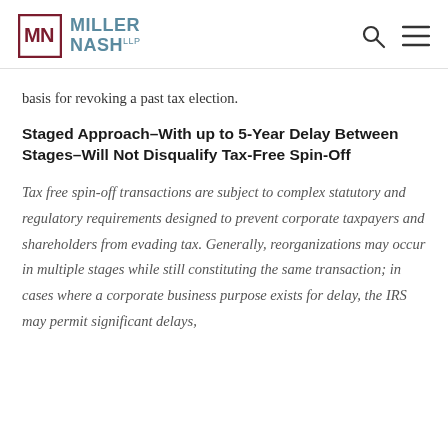Miller Nash LLP
basis for revoking a past tax election.
Staged Approach–With up to 5-Year Delay Between Stages–Will Not Disqualify Tax-Free Spin-Off
Tax free spin-off transactions are subject to complex statutory and regulatory requirements designed to prevent corporate taxpayers and shareholders from evading tax. Generally, reorganizations may occur in multiple stages while still constituting the same transaction; in cases where a corporate business purpose exists for delay, the IRS may permit significant delays,